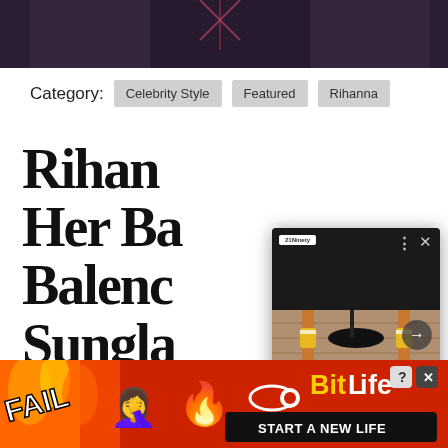[Figure (photo): Partial view of a person in dark outfit, top of page cropped photo]
Category: Celebrity Style  Featured  Rihanna
Rihanna Her Ba Balenc Sungla e up Jean Paul Gaultier
[Figure (screenshot): Overlay ad card showing shoes image with text '9 Timeless Shoes For Fall – 21Ninety' with yellow left border, logo, navigation arrow, and close X button]
[Figure (advertisement): BitLife mobile game advertisement banner with FAIL text, flame emoji, person emoji, fire emoji, pill icon, BitLife logo in yellow, and 'START A NEW LIFE' button on black background]